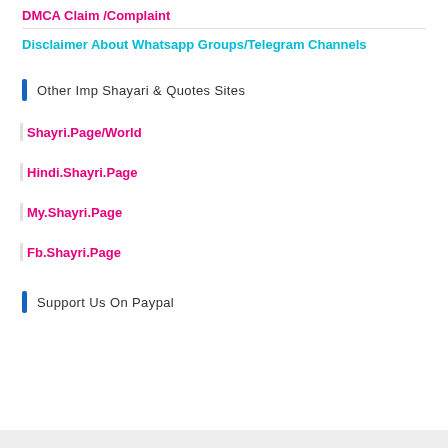DMCA Claim /Complaint
Disclaimer About Whatsapp Groups/Telegram Channels
Other Imp Shayari & Quotes Sites
Shayri.Page/World
Hindi.Shayri.Page
My.Shayri.Page
Fb.Shayri.Page
Support Us On Paypal